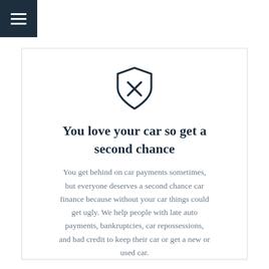[Figure (illustration): Shield icon with an X mark inside, drawn in dark navy outline style]
You love your car so get a second chance
You get behind on car payments sometimes, but everyone deserves a second chance car finance because without your car things could get ugly. We help people with late auto payments, bankruptcies, car repossessions, and bad credit to keep their car or get a new or used car.